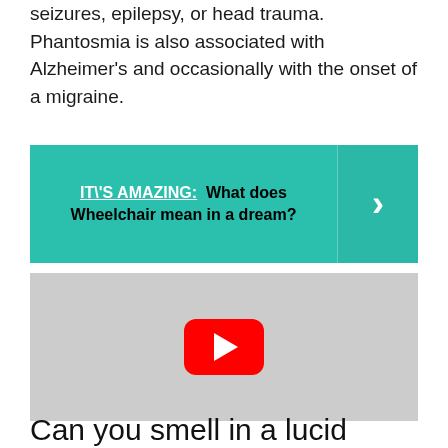seizures, epilepsy, or head trauma. Phantosmia is also associated with Alzheimer's and occasionally with the onset of a migraine.
IT\'S AMAZING:  What does Wheelchair mean in a dream?
[Figure (screenshot): YouTube video thumbnail placeholder with gray background and red YouTube play button icon]
Can you smell in a lucid